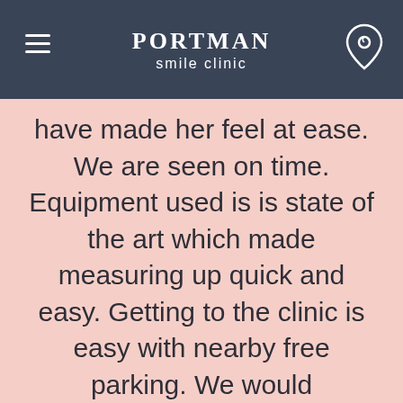Portman smile clinic
have made her feel at ease. We are seen on time. Equipment used is is state of the art which made measuring up quick and easy. Getting to the clinic is easy with nearby free parking. We would thoroughly recommend this clinic to